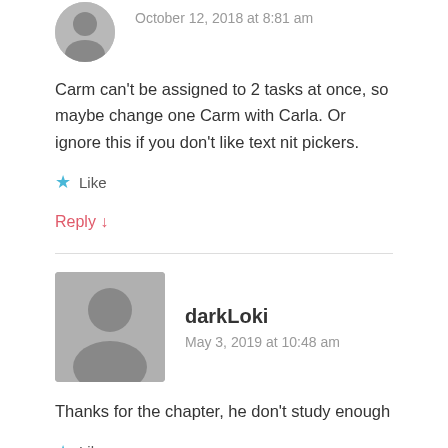October 12, 2018 at 8:81 am
Carm can't be assigned to 2 tasks at once, so maybe change one Carm with Carla. Or ignore this if you don't like text nit pickers.
Like
Reply ↓
darkLoki
May 3, 2019 at 10:48 am
Thanks for the chapter, he don't study enough
Like